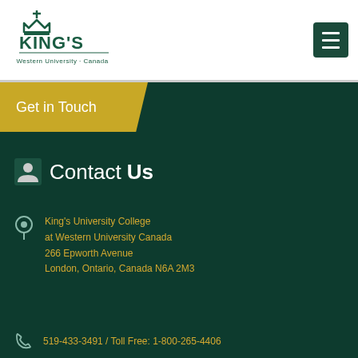[Figure (logo): King's University College at Western University Canada logo in dark green]
Get in Touch
Contact Us
King's University College
at Western University Canada
266 Epworth Avenue
London, Ontario, Canada N6A 2M3
519-433-3491 / Toll Free: 1-800-265-4406